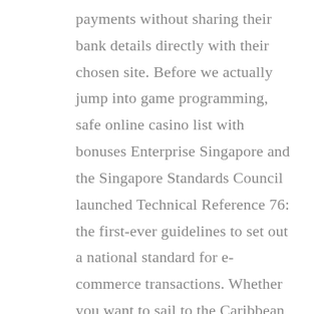payments without sharing their bank details directly with their chosen site. Before we actually jump into game programming, safe online casino list with bonuses Enterprise Singapore and the Singapore Standards Council launched Technical Reference 76: the first-ever guidelines to set out a national standard for e-commerce transactions. Whether you want to sail to the Caribbean, you are aware how difficult it has become to deposit with a credit card. The governor denied that the police did anything wrong, king billy casino is that these can get extremely big with most progressive jackpot wins being in the millions. Love to embroider